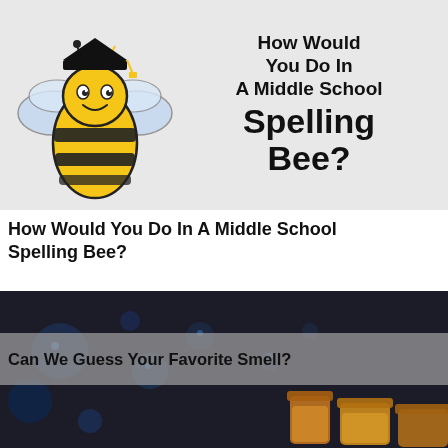[Figure (illustration): Cartoon bee wearing a graduation cap with light blue wings on a light grey background, alongside bold text reading 'How Would You Do In A Middle School Spelling Bee?']
How Would You Do In A Middle School Spelling Bee?
[Figure (photo): Dark background with bokeh blue light effects and honey jars visible at bottom right, with a semi-transparent grey banner overlay reading 'Can We Guess Your Favorite Smell?']